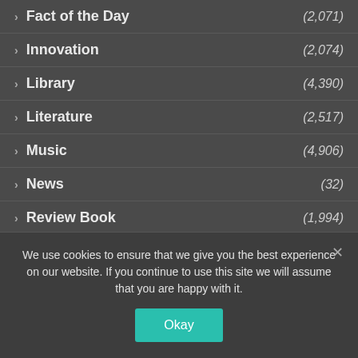Fact of the Day (2,071)
Innovation (2,074)
Library (4,390)
Literature (2,517)
Music (4,906)
News (32)
Review Book (1,994)
Schools & Teachers (2,958)
Sports (4,406)
Students (2,064)
Top Stories (4,567)
University (2,088)
We use cookies to ensure that we give you the best experience on our website. If you continue to use this site we will assume that you are happy with it.